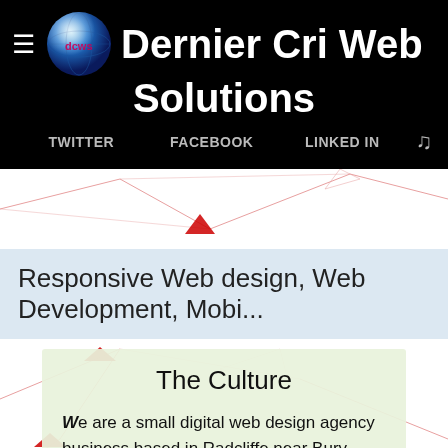Dernier Cri Web Solutions
TWITTER   FACEBOOK   LINKED IN
[Figure (illustration): Geometric red triangle network/wireframe background illustration]
Responsive Web design, Web Development, Mobi...
[Figure (illustration): Geometric red triangle network/wireframe background illustration (lower section)]
The Culture
We are a small digital web design agency business based in Radcliffe near Bury, Greater Manchester, that prides itself on honesty from the off. We certainly will not promise the delivery of a product we aren't